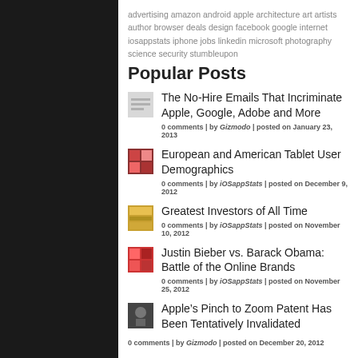advertising amazon android apple architecture art artists author browser deals design facebook google internet iosappstats iphone jobs linkedin microsoft photography science security stumbleupon
Popular Posts
The No-Hire Emails That Incriminate Apple, Google, Adobe and More
0 comments | by Gizmodo | posted on January 23, 2013
European and American Tablet User Demographics
0 comments | by iOSappStats | posted on December 9, 2012
Greatest Investors of All Time
0 comments | by iOSappStats | posted on November 10, 2012
Justin Bieber vs. Barack Obama: Battle of the Online Brands
0 comments | by iOSappStats | posted on November 25, 2012
Apple’s Pinch to Zoom Patent Has Been Tentatively Invalidated
0 comments | by Gizmodo | posted on December 20, 2012